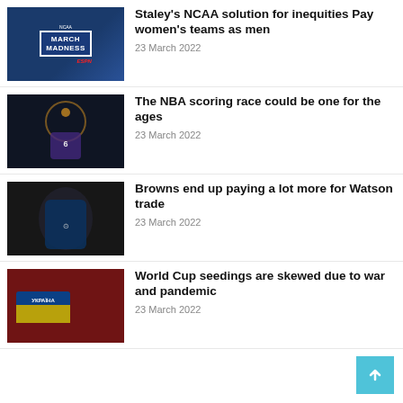[Figure (photo): Woman in black jacket in front of March Madness / ESPN banner]
Staley's NCAA solution for inequities Pay women's teams as men
23 March 2022
[Figure (photo): NBA basketball player in Lakers jersey shooting ball]
The NBA scoring race could be one for the ages
23 March 2022
[Figure (photo): Football player in dark jersey running with ball]
Browns end up paying a lot more for Watson trade
23 March 2022
[Figure (photo): Sports fans with Ukraine flag banner in stadium crowd]
World Cup seedings are skewed due to war and pandemic
23 March 2022